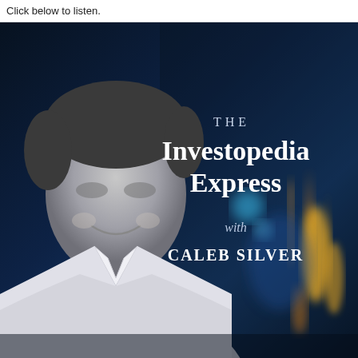Click below to listen.
[Figure (photo): Podcast promotional image for 'The Investopedia Express with Caleb Silver'. Shows a smiling man in a white shirt against a dark blue background with bokeh city lights. Text overlay reads 'THE Investopedia Express with CALEB SILVER'.]